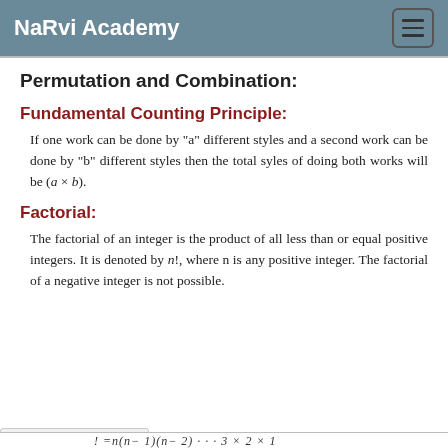NaRvi Academy
Permutation and Combination:
Fundamental Counting Principle:
If one work can be done by "a" different styles and a second work can be done by "b" different styles then the total syles of doing both works will be (a × b).
Factorial:
The factorial of an integer is the product of all less than or equal positive integers. It is denoted by n!, where n is any positive integer. The factorial of a negative integer is not possible.
Processing math: 100%